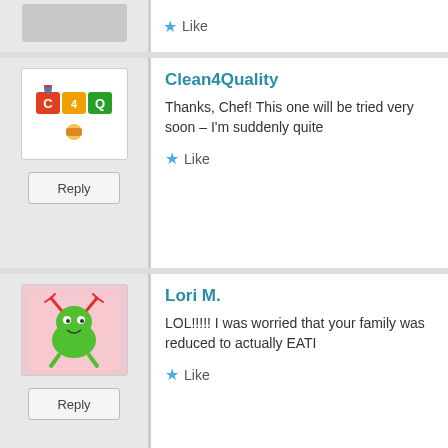Like
[Figure (illustration): Clean4Quality logo avatar - colorful icon with C4Q letters]
Clean4Quality
Thanks, Chef! This one will be tried very soon – I'm suddenly quite
Like
Reply
[Figure (illustration): Lori M. avatar - cartoon green monster/crab character on pink background]
Lori M.
LOL!!!!! I was worried that your family was reduced to actually EATI
Like
Reply
[Figure (photo): Regina (Gina) Arnold avatar - photo of woman with blonde/brown hair]
Regina (Gina) Arnold
Very clever post and I love the recipe. I'm a big fan of slow cookers.
Like
Reply
Advertisements
[Figure (other): Jetpack advertisement banner - green background with Jetpack logo and 'Back up your site' button]